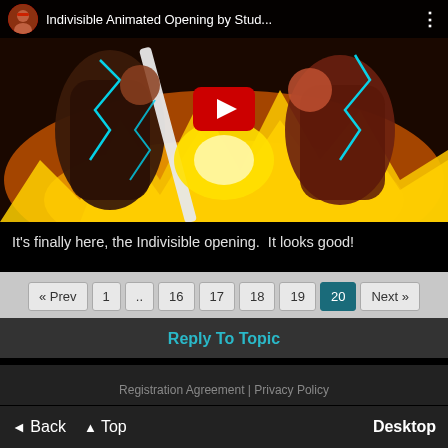[Figure (screenshot): YouTube video thumbnail for 'Indivisible Animated Opening by Stud...' showing anime-style characters fighting with swords amid fire and cyan lightning effects. A red YouTube play button is centered on the image. The top bar shows a circular avatar, the video title, and a three-dot menu icon.]
It's finally here, the Indivisible opening.  It looks good!
« Prev  1  ..  16  17  18  19  20  Next »
Reply To Topic
Registration Agreement | Privacy Policy
◄ Back  ▲ Top  Desktop